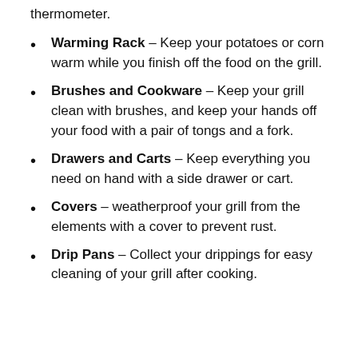thermometer.
Warming Rack – Keep your potatoes or corn warm while you finish off the food on the grill.
Brushes and Cookware – Keep your grill clean with brushes, and keep your hands off your food with a pair of tongs and a fork.
Drawers and Carts – Keep everything you need on hand with a side drawer or cart.
Covers – weatherproof your grill from the elements with a cover to prevent rust.
Drip Pans – Collect your drippings for easy cleaning of your grill after cooking.